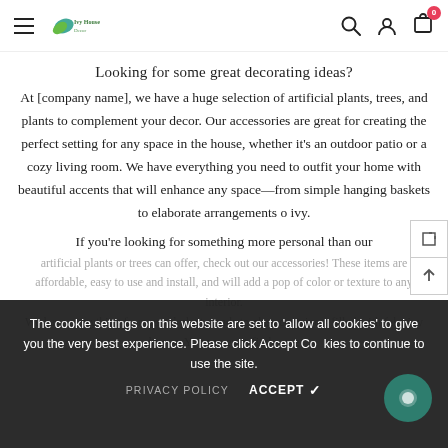Navigation bar with hamburger menu, logo, search, account, and cart icons
Looking for some great decorating ideas?
At [company name], we have a huge selection of artificial plants, trees, and plants to complement your decor. Our accessories are great for creating the perfect setting for any space in the house, whether it's an outdoor patio or a cozy living room. We have everything you need to outfit your home with beautiful accents that will enhance any space—from simple hanging baskets to elaborate arrangements o ivy.
If you're looking for something more personal than our
artificial plants or trees can offer, check out our accessories! These items are affordable, easy to use and install, and will add a pop of color or texture to any interior.
We have everything from metal plant stands to glass containers filled with fake ivy leaves. You can even find some
The cookie settings on this website are set to 'allow all cookies' to give you the very best experience. Please click Accept Cookies to continue to use the site.